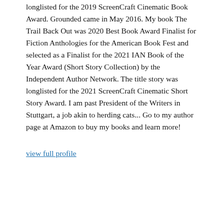longlisted for the 2019 ScreenCraft Cinematic Book Award. Grounded came in May 2016. My book The Trail Back Out was 2020 Best Book Award Finalist for Fiction Anthologies for the American Book Fest and selected as a Finalist for the 2021 IAN Book of the Year Award (Short Story Collection) by the Independent Author Network. The title story was longlisted for the 2021 ScreenCraft Cinematic Short Story Award. I am past President of the Writers in Stuttgart, a job akin to herding cats... Go to my author page at Amazon to buy my books and learn more!
view full profile